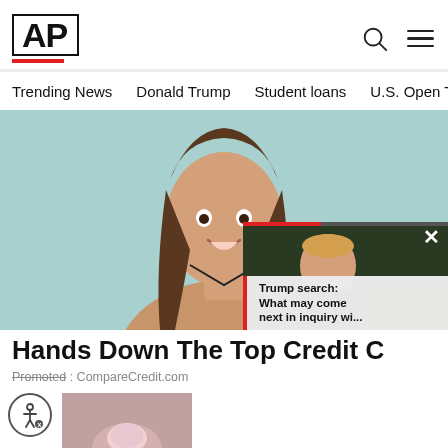[Figure (logo): AP (Associated Press) logo — bold AP text in bordered box with red underline]
Trending News   Donald Trump   Student loans   U.S. Open Tenn
[Figure (photo): Woman smiling and holding a credit card against a light teal background]
[Figure (screenshot): Video overlay thumbnail showing a man in suit (Trump) with progress bar and close button]
Hands Down The Top Credit C
Promoted : CompareCredit.com
[Figure (photo): Small thumbnail image of fingers/nails at bottom left]